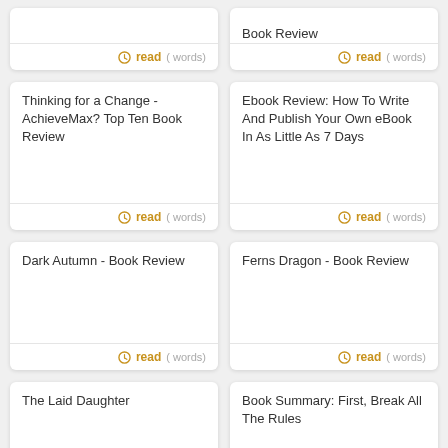Book Review
read ( words)
read ( words)
Thinking for a Change - AchieveMax? Top Ten Book Review
read ( words)
Ebook Review: How To Write And Publish Your Own eBook In As Little As 7 Days
read ( words)
Dark Autumn - Book Review
read ( words)
Ferns Dragon - Book Review
read ( words)
The Laid Daughter
Book Summary: First, Break All The Rules